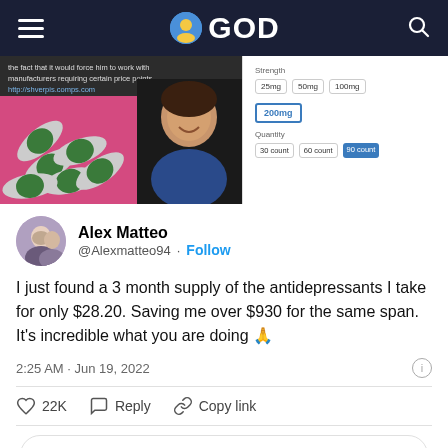GOD
[Figure (screenshot): Screenshot of a pharmacy/drug website showing pills and a person, with medication strength options (25mg, 50mg, 100mg, 200mg selected) and quantity options (30 count, 60 count, 90 count selected)]
Alex Matteo @Alexmatteo94 · Follow
I just found a 3 month supply of the antidepressants I take for only $28.20. Saving me over $930 for the same span. It's incredible what you are doing 🙏
2:25 AM · Jun 19, 2022
22K  Reply  Copy link
Read 163 replies